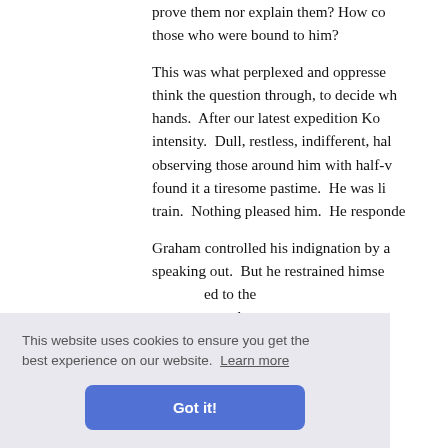prove them nor explain them? How could those who were bound to him?
This was what perplexed and oppressed think the question through, to decide wh hands. After our latest expedition K intensity. Dull, restless, indifferent, hal observing those around him with half-w found it a tiresome pastime. He was li train. Nothing pleased him. He responde
Graham controlled his indignation by a speaking out. But he restrained himse ed to the eyond en
The inte ol had ho
ve have m will be glorious!"
This website uses cookies to ensure you get the best experience on our website. Learn more
Got it!